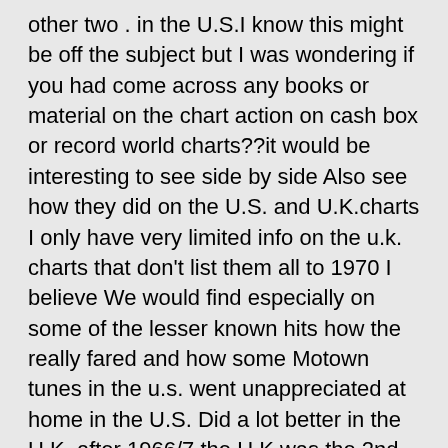other two . in the U.S.I know this might be off the subject but I was wondering if you had come across any books or material on the chart action on cash box or record world charts??it would be interesting to see side by side Also see how they did on the U.S. and U.K.charts I only have very limited info on the u.k. charts that don't list them all to 1970 I believe We would find especially on some of the lesser known hits how the really fared and how some Motown tunes in the u.s. went unappreciated at home in the U.S. Did a lot better in the U.K. after 1966/7 the U.K.was the 2nd successful largest market for Motown and it seemed to edge a bit up in the early to mid 1970's on some